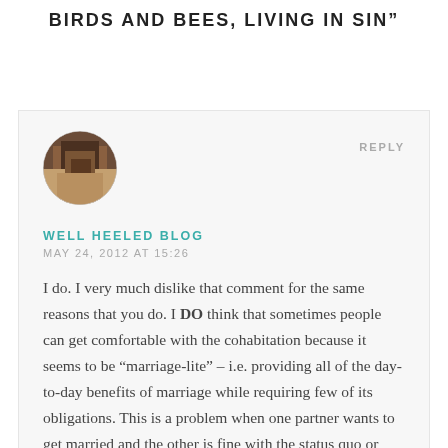BIRDS AND BEES, LIVING IN SIN"
[Figure (photo): Circular avatar photo showing a person, cropped in a round frame]
REPLY
WELL HEELED BLOG
MAY 24, 2012 AT 15:26
I do. I very much dislike that comment for the same reasons that you do. I DO think that sometimes people can get comfortable with the cohabitation because it seems to be “marriage-lite” – i.e. providing all of the day-to-day benefits of marriage while requiring few of its obligations. This is a problem when one partner wants to get married and the other is fine with the status quo or doesn’t want to get married. That said, the “cow and milk for free” line bugs me, because it’s